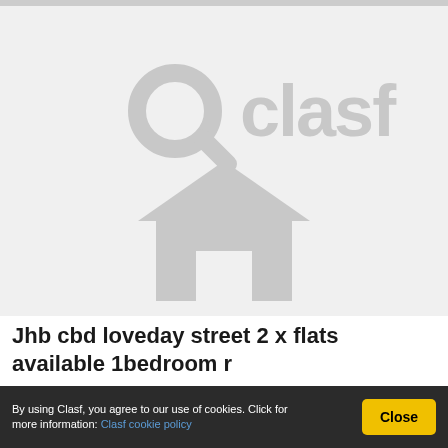[Figure (logo): Clasf placeholder image with search icon and house icon in light gray on white background]
Jhb cbd loveday street 2 x flats available 1bedroom r
South Africa
By using Clasf, you agree to our use of cookies. Click for more information: Clasf cookie policy